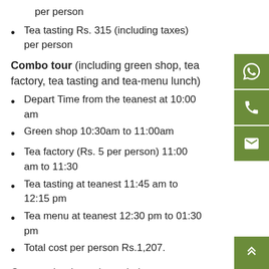per person
Tea tasting Rs. 315 (including taxes) per person
Combo tour (including green shop, tea factory, tea tasting and tea-menu lunch)
Depart Time from the teanest at 10:00 am
Green shop 10:30am to 11:00am
Tea factory (Rs. 5 per person) 11:00 am to 11:30
Tea tasting at teanest 11:45 am to 12:15 pm
Tea menu at teanest 12:30 pm to 01:30 pm
Total cost per person Rs.1,207.
Guests who do not have their own car/vehicle need to hire a car. Our executive at teanest will make the necessary arrangements.